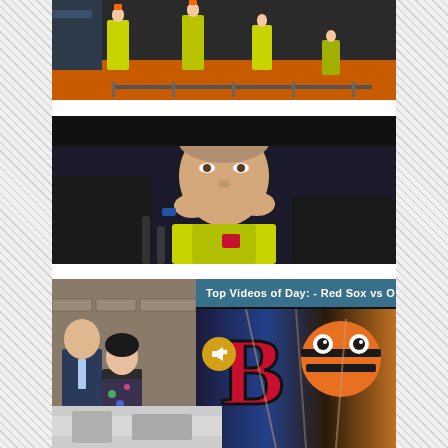[Figure (photo): Construction workers in yellow safety vests and hard hats working on what appears to be a subway or rail platform with orange equipment]
[Figure (photo): A man in a yellow safety vest with hands raised near his face, speaking to media with microphones visible in the foreground]
[Figure (photo): A group of people including a man in a suit and a woman standing together, partially visible at left]
[Figure (screenshot): Video overlay popup showing 'Top Videos of Day: - Red Sox vs Orioles ...' header with a baseball video showing Red Sox B logo and Orioles mascot, with a mute/unmute button and close X button]
[Figure (photo): Partial photo visible at bottom left showing a light-colored outdoor or indoor scene]